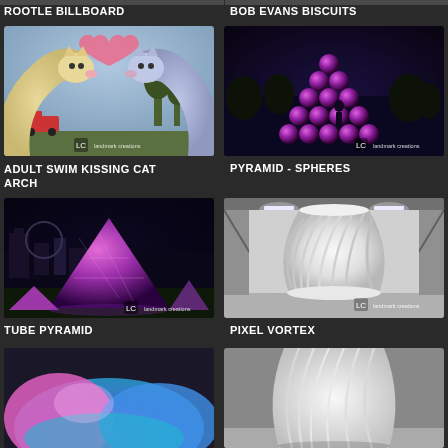ROOTLE BILLBOARD
BOB EVANS BISCUITS
[Figure (photo): Inflatable arch shaped like two kissing cats (Kissing Cat characters from Adult Swim) in yellow and purple/blue, with a heart on top, set outdoors with landmark creations watermark]
[Figure (photo): Large pyramid structure made of illuminated purple/magenta spheres arranged in a grid pattern, photographed at night outdoors, with landmark creations watermark]
ADULT SWIM KISSING CAT ARCH
PYRAMID - SPHERES
[Figure (photo): Illuminated tube pyramid structure glowing pink/purple at night with city skyline in background, landmark creations watermark]
[Figure (photo): Large white inflatable vortex/column structure photographed indoors in a warehouse, with landmark creations watermark]
TUBE PYRAMID
PIXEL VORTEX
[Figure (photo): Partial view of colorful inflatable with pink and blue colors visible at bottom of page]
[Figure (photo): Partial view of white inflatable structure at bottom of page]